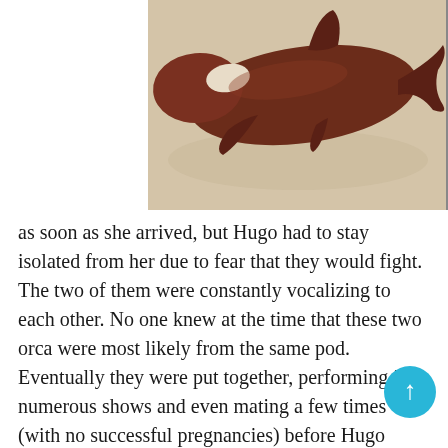[Figure (photo): A photo of an orca (killer whale) specimen, dark brown/black coloring with white patch, shown on a light beige background, partially cropped at top]
as soon as she arrived, but Hugo had to stay isolated from her due to fear that they would fight. The two of them were constantly vocalizing to each other. No one knew at the time that these two orca were most likely from the same pod. Eventually they were put together, performing in numerous shows and even mating a few times (with no successful pregnancies) before Hugo killed himself by bashing his head against the side of his tank one too many times. His body was then taken from the park and placed into